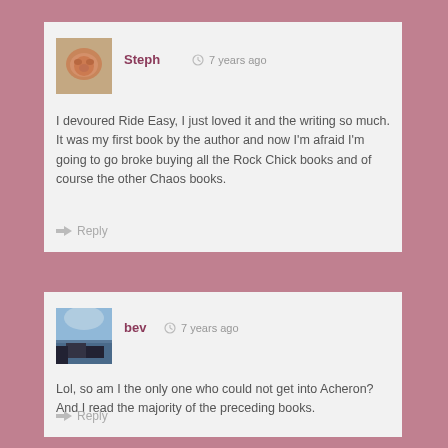Steph  7 years ago
I devoured Ride Easy, I just loved it and the writing so much. It was my first book by the author and now I'm afraid I'm going to go broke buying all the Rock Chick books and of course the other Chaos books.
Reply
bev  7 years ago
Lol, so am I the only one who could not get into Acheron? And I read the majority of the preceding books.
Reply